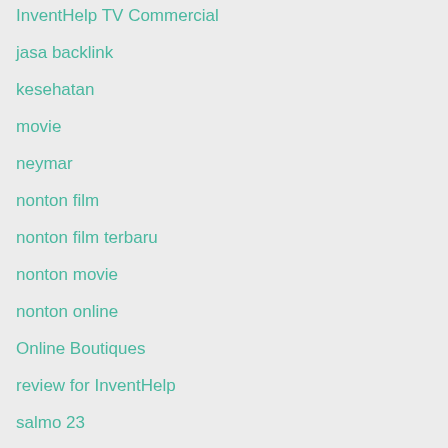InventHelp TV Commercial
jasa backlink
kesehatan
movie
neymar
nonton film
nonton film terbaru
nonton movie
nonton online
Online Boutiques
review for InventHelp
salmo 23